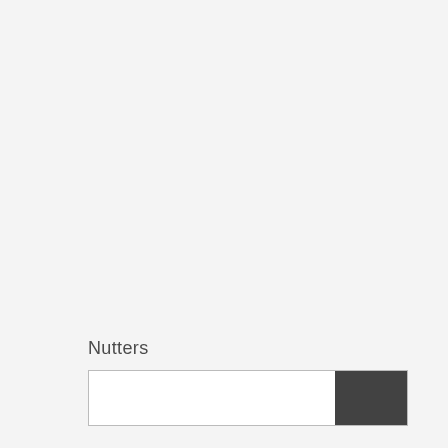Nutters
[Figure (other): A search bar UI element with a white text input area on the left and a dark grey/charcoal search button on the right]